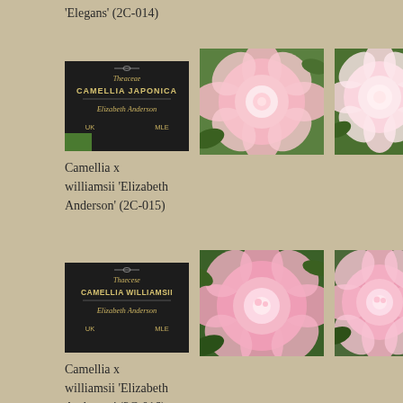'Elegans' (2C-014)
[Figure (photo): Plant label for Camellia japonica Elizabeth Anderson, Theaceae family, UK, MLE]
[Figure (photo): Pink camellia flower, full double form, close-up]
[Figure (photo): Pink camellia flower, slightly different angle]
Camellia x williamsii 'Elizabeth Anderson' (2C-015)
[Figure (photo): Plant label for Camellia williamsii Elizabeth Anderson, Theaceae family, UK, MLE]
[Figure (photo): Deeper pink camellia flower, full double form]
[Figure (photo): Deeper pink camellia flower, similar form]
Camellia x williamsii 'Elizabeth Anderson' (2C-016)
[Figure (photo): Plant label for Camellia williamsii, Theaceae family]
[Figure (photo): Pale pink camellia flower, partially visible]
[Figure (photo): Pale pink camellia flower, partially visible]